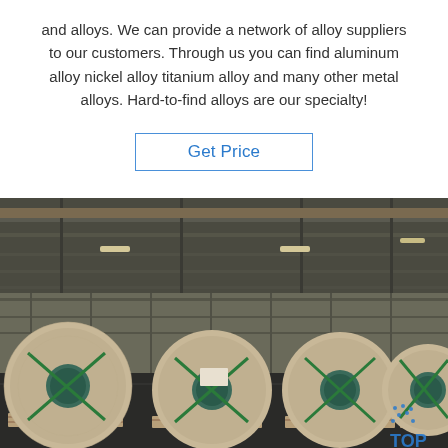and alloys. We can provide a network of alloy suppliers to our customers. Through us you can find aluminum alloy nickel alloy titanium alloy and many other metal alloys. Hard-to-find alloys are our specialty!
Get Price
[Figure (photo): Large metal coils wrapped in brown paper with green strapping bands, stored in an industrial warehouse with overhead cranes visible. A 'TOP' watermark logo appears in the bottom right corner.]